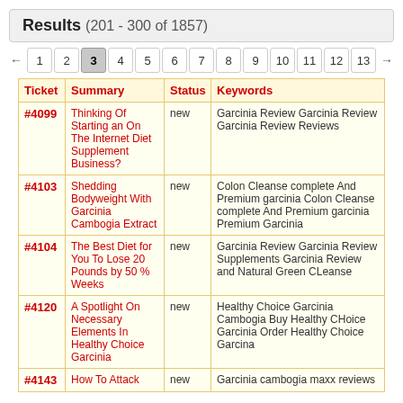Results (201 - 300 of 1857)
← 1 2 3 4 5 6 7 8 9 10 11 12 13 →
| Ticket | Summary | Status | Keywords |
| --- | --- | --- | --- |
| #4099 | Thinking Of Starting an On The Internet Diet Supplement Business? | new | Garcinia Review Garcinia Review Garcinia Review Reviews |
| #4103 | Shedding Bodyweight With Garcinia Cambogia Extract | new | Colon Cleanse complete And Premium garcinia Colon Cleanse complete And Premium garcinia Premium Garcinia |
| #4104 | The Best Diet for You To Lose 20 Pounds by 50 % Weeks | new | Garcinia Review Garcinia Review Supplements Garcinia Review and Natural Green CLeanse |
| #4120 | A Spotlight On Necessary Elements In Healthy Choice Garcinia | new | Healthy Choice Garcinia Cambogia Buy Healthy CHoice Garcinia Order Healthy Choice Garcina |
| #4143 | How To Attack | new | Garcinia cambogia maxx reviews |